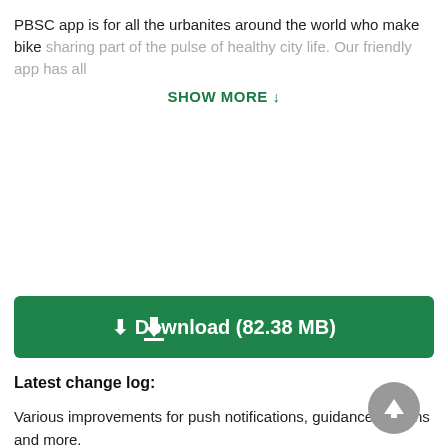PBSC app is for all the urbanites around the world who make bike sharing part of the pulse of healthy city life. Our friendly app has all
SHOW MORE ↓
[Figure (screenshot): Download button with green background: Download (82.38 MB)]
Latest change log:
Various improvements for push notifications, guidance screens and more.